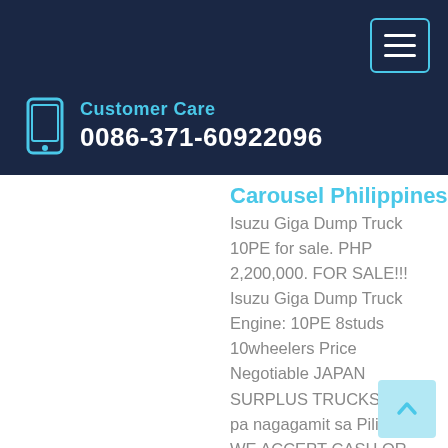Customer Care
0086-371-60922096
Carousel Philippines
Isuzu Giga Dump Truck 10PE for sale. PHP 2,200,000. FOR SALE!!! Isuzu Giga Dump Truck Engine: 10PE 8studs 10wheelers Price Negotiable JAPAN SURPLUS TRUCKS (Hindi pa nagagamit sa Pilipinas) WE ACCEPT CASH OR FINANCING for more details please contact: 09171293803 open for viber/whatsapp 09190002999 Fb page: [email protected] Used
Learn More